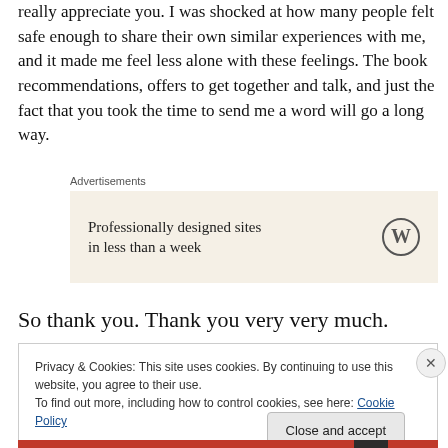really appreciate you. I was shocked at how many people felt safe enough to share their own similar experiences with me, and it made me feel less alone with these feelings. The book recommendations, offers to get together and talk, and just the fact that you took the time to send me a word will go a long way.
[Figure (other): Advertisement box with beige background. Text: 'Professionally designed sites in less than a week' with WordPress circular logo on the right.]
So thank you. Thank you very very much.
Privacy & Cookies: This site uses cookies. By continuing to use this website, you agree to their use.
To find out more, including how to control cookies, see here: Cookie Policy